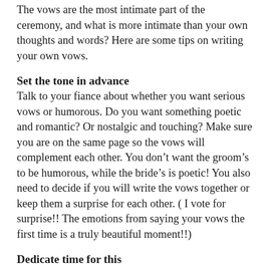The vows are the most intimate part of the ceremony, and what is more intimate than your own thoughts and words? Here are some tips on writing your own vows.
Set the tone in advance
Talk to your fiance about whether you want serious vows or humorous. Do you want something poetic and romantic? Or nostalgic and touching? Make sure you are on the same page so the vows will complement each other. You don't want the groom's to be humorous, while the bride's is poetic! You also need to decide if you will write the vows together or keep them a surprise for each other. ( I vote for surprise!! The emotions from saying your vows the first time is a truly beautiful moment!!)
Dedicate time for this